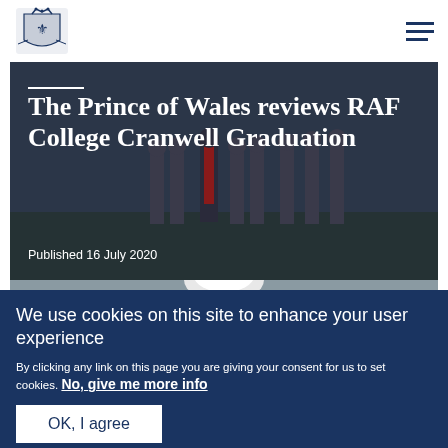The Prince of Wales official website header with royal coat of arms logo and hamburger menu
The Prince of Wales reviews RAF College Cranwell Graduation
Published 16 July 2020
[Figure (photo): Photograph of RAF officers/cadets in uniform standing on grass at the RAF College Cranwell Graduation ceremony]
We use cookies on this site to enhance your user experience
By clicking any link on this page you are giving your consent for us to set cookies. No, give me more info
OK, I agree